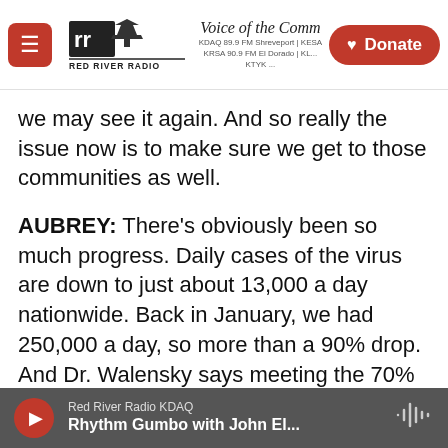Red River Radio — Voice of the Community — Donate
we may see it again. And so really the issue now is to make sure we get to those communities as well.
AUBREY: There's obviously been so much progress. Daily cases of the virus are down to just about 13,000 a day nationwide. Back in January, we had 250,000 a day, so more than a 90% drop. And Dr. Walensky says meeting the 70% goal everywhere would go an extraordinarily long way to ensure community protection.
FADEL: So some good news there. And there's some success in Latino communities in boosting
Red River Radio KDAQ — Rhythm Gumbo with John El...